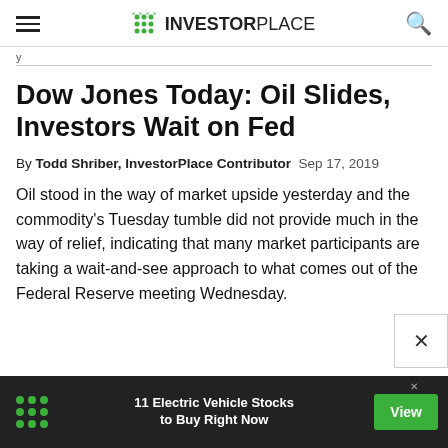INVESTORPLACE
y
Dow Jones Today: Oil Slides, Investors Wait on Fed
By Todd Shriber, InvestorPlace Contributor   Sep 17, 2019
Oil stood in the way of market upside yesterday and the commodity's Tuesday tumble did not provide much in the way of relief, indicating that many market participants are taking a wait-and-see approach to what comes out of the Federal Reserve meeting Wednesday.
11 Electric Vehicle Stocks to Buy Right Now  View